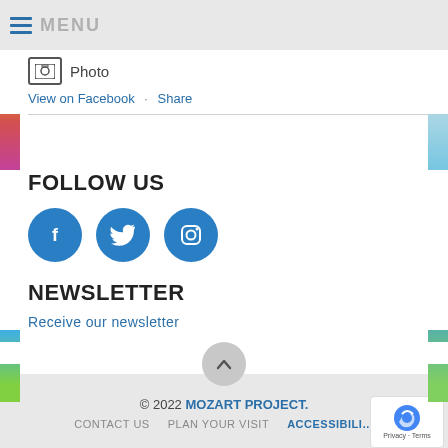MENU
Photo
View on Facebook · Share
FOLLOW US
[Figure (illustration): Three social media icons: Facebook (f), Twitter (bird), Instagram (camera) — all white on blue circles]
NEWSLETTER
Receive our newsletter
© 2022 MOZART PROJECT. | CONTACT US | PLAN YOUR VISIT | ACCESSIBILITY